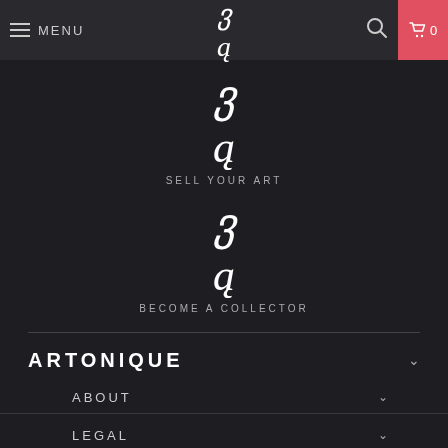MENU | [logo] | [search] | cart 0
[Figure (logo): Artonique stylized logo symbol (cursive ampersand/letter)]
SELL YOUR ART
[Figure (logo): Artonique stylized logo symbol (cursive ampersand/letter)]
BECOME A COLLECTOR
ARTONIQUE
ABOUT
LEGAL
GALLERY